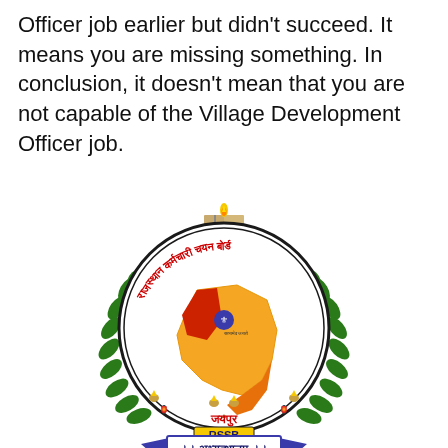Officer job earlier but didn't succeed. It means you are missing something. In conclusion, it doesn't mean that you are not capable of the Village Development Officer job.
[Figure (logo): Rajasthan Staff Selection Board (RSSB) official emblem/logo featuring a circular seal with a map of Rajasthan in orange/red/yellow colors with the Ashoka Emblem (Lion Capital), surrounded by a green laurel wreath, a book with flame at top, text in Hindi 'राजस्थान कर्मचारी चयन बोर्ड' in red around the circle, 'जयपुर' below, 'RSSB' in yellow on a blue rectangle, and '।। अभ्युत्थानम् ।।' on a banner below.]